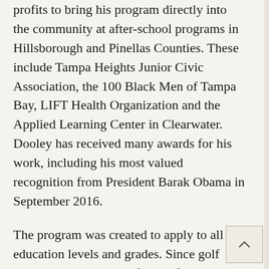profits to bring his program directly into the community at after-school programs in Hillsborough and Pinellas Counties. These include Tampa Heights Junior Civic Association, the 100 Black Men of Tampa Bay, LIFT Health Organization and the Applied Learning Center in Clearwater. Dooley has received many awards for his work, including his most valued recognition from President Barak Obama in September 2016.
The program was created to apply to all education levels and grades. Since golf incorporates all areas of study for students: science, technology, engineering, art and mathematics (STEAM) each of his modules are age appropriate for children and youth to learn about an industry that is a unique crossroad in its appeal to young people.